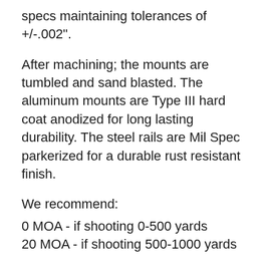specs maintaining tolerances of +/-.002".
After machining; the mounts are tumbled and sand blasted. The aluminum mounts are Type III hard coat anodized for long lasting durability. The steel rails are Mil Spec parkerized for a durable rust resistant finish.
We recommend:
0 MOA - if shooting 0-500 yards
20 MOA - if shooting 500-1000 yards
When zeroing your rifle with a 20 MOA